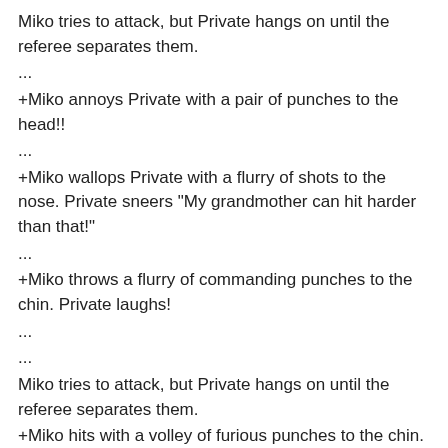Miko tries to attack, but Private hangs on until the referee separates them.
...
+Miko annoys Private with a pair of punches to the head!!
...
+Miko wallops Private with a flurry of shots to the nose. Private sneers "My grandmother can hit harder than that!"
...
+Miko throws a flurry of commanding punches to the chin. Private laughs!
...
...
Miko tries to attack, but Private hangs on until the referee separates them.
+Miko hits with a volley of furious punches to the chin.
...
-Private tries to land a left hook to the ribs, but Miko ducks just in time.
...